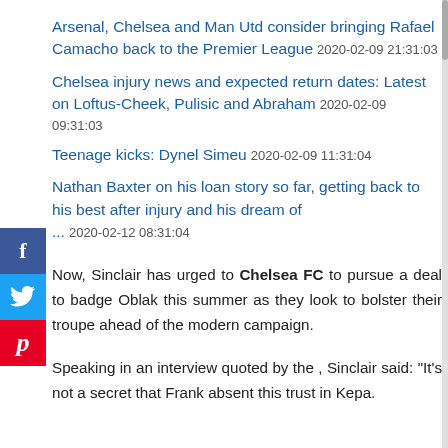Arsenal, Chelsea and Man Utd consider bringing Rafael Camacho back to the Premier League 2020-02-09 21:31:03
Chelsea injury news and expected return dates: Latest on Loftus-Cheek, Pulisic and Abraham 2020-02-09 09:31:03
Teenage kicks: Dynel Simeu 2020-02-09 11:31:04
Nathan Baxter on his loan story so far, getting back to his best after injury and his dream of ... 2020-02-12 08:31:04
Now, Sinclair has urged to Chelsea FC to pursue a deal to badge Oblak this summer as they look to bolster their troupe ahead of the modern campaign.
Speaking in an interview quoted by the , Sinclair said: “It’s not a secret that Frank absent this trust in Kepa.